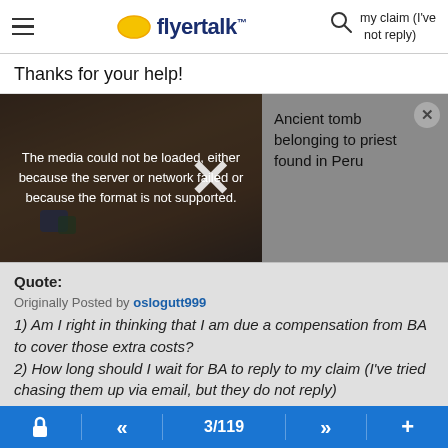flyertalk — my claim (I've not reply)
Thanks for your help!
[Figure (screenshot): Video media player showing an ancient tomb image with error overlay: 'The media could not be loaded, either because the server or network failed or because the format is not supported.' Right side shows text: 'Ancient tomb belonging to priest found in Peru' with close (X) button.]
Quote:
Originally Posted by oslogutt999
1) Am I right in thinking that I am due a compensation from BA to cover those extra costs?
2) How long should I wait for BA to reply to my claim (I've tried chasing them up via email, but they do not reply)
"Right to care" can run with full refund due to cancellation, there is a clear "and" conjunction used in the Regulation
3/119